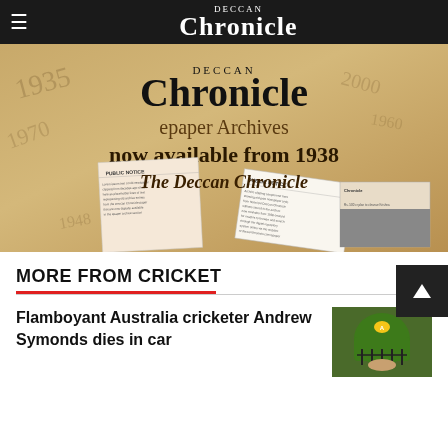Deccan Chronicle
[Figure (illustration): Deccan Chronicle epaper Archives advertisement — aged parchment background with old newspaper clippings, text reads: DECCAN Chronicle epaper Archives now available from 1938, The Deccan Chronicle]
MORE FROM CRICKET
Flamboyant Australia cricketer Andrew Symonds dies in car
[Figure (photo): Photo of Andrew Symonds wearing an Australian cricket helmet]